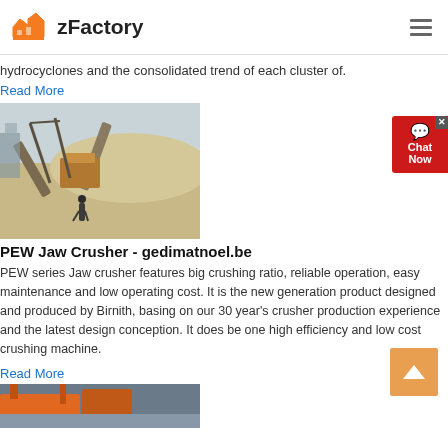zFactory
hydrocyclones and the consolidated trend of each cluster of.
Read More
[Figure (photo): Outdoor industrial crushing plant with conveyor belts and machinery, person standing in foreground, limestone/quarry material in background]
PEW Jaw Crusher - gedimatnoel.be
PEW series Jaw crusher features big crushing ratio, reliable operation, easy maintenance and low operating cost. It is the new generation product designed and produced by Birnith, basing on our 30 year's crusher production experience and the latest design conception. It does be one high efficiency and low cost crushing machine.
Read More
[Figure (photo): Partial view of orange/red industrial factory or crusher equipment at bottom of page]